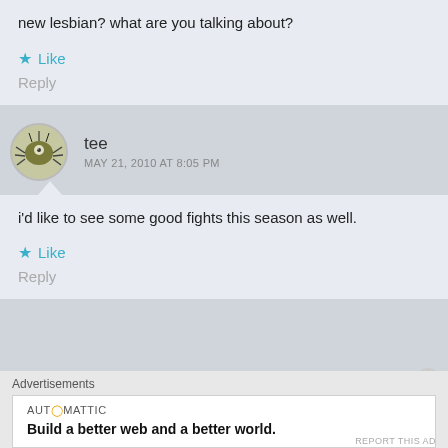new lesbian? what are you talking about?
Like
Reply
tee
MAY 21, 2010 AT 8:05 PM
i'd like to see some good fights this season as well.
Like
Reply
Advertisements
AUTOMATTIC
Build a better web and a better world.